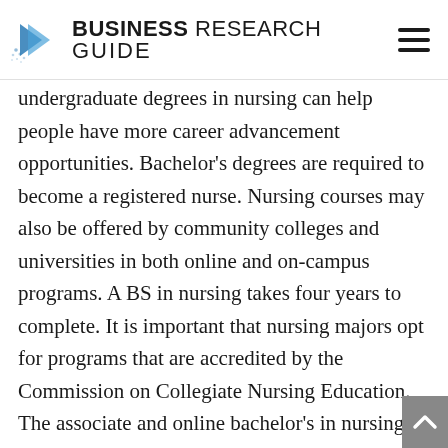BUSINESS RESEARCH GUIDE
undergraduate degrees in nursing can help people have more career advancement opportunities. Bachelor's degrees are required to become a registered nurse. Nursing courses may also be offered by community colleges and universities in both online and on-campus programs. A BS in nursing takes four years to complete. It is important that nursing majors opt for programs that are accredited by the Commission on Collegiate Nursing Education. The associate and online bachelor's in nursing programs prepare them for the NCLEX-RN examination. The associate degree may take two or three years to complete. Students will attend both lectures and hands-on clinical practice. Meanwhile,